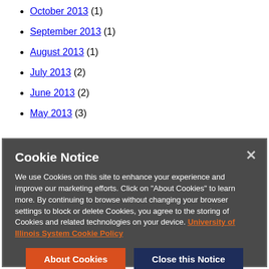October 2013 (1)
September 2013 (1)
August 2013 (1)
July 2013 (2)
June 2013 (2)
May 2013 (3)
Cookie Notice
We use Cookies on this site to enhance your experience and improve our marketing efforts. Click on "About Cookies" to learn more. By continuing to browse without changing your browser settings to block or delete Cookies, you agree to the storing of Cookies and related technologies on your device. University of Illinois System Cookie Policy
About Cookies | Close this Notice